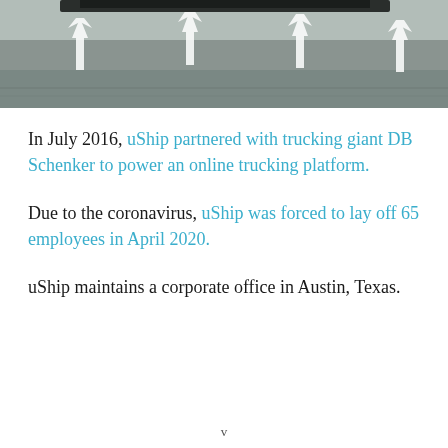[Figure (photo): Aerial or ground-level view of a road/highway with white lane arrow markings on asphalt, and a vehicle partially visible at the top.]
In July 2016, uShip partnered with trucking giant DB Schenker to power an online trucking platform.
Due to the coronavirus, uShip was forced to lay off 65 employees in April 2020.
uShip maintains a corporate office in Austin, Texas.